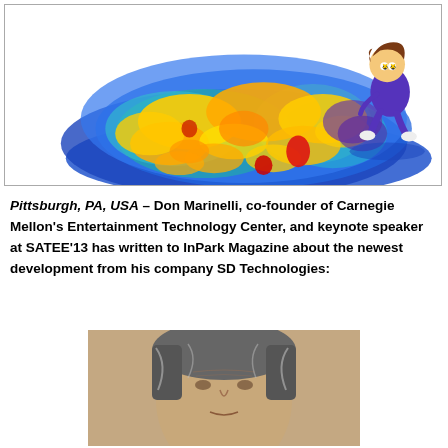[Figure (illustration): Heat map visualization showing a colorful blob-like shape in blues, teals, yellows, oranges and reds on a white background, with a cartoon character of a child sitting/crouching in the upper right corner]
Pittsburgh, PA, USA – Don Marinelli, co-founder of Carnegie Mellon's Entertainment Technology Center, and keynote speaker at SATEE'13 has written to InPark Magazine about the newest development from his company SD Technologies:
[Figure (photo): Portrait photo of a middle-aged man with gray hair, facing forward, against a beige/tan background]